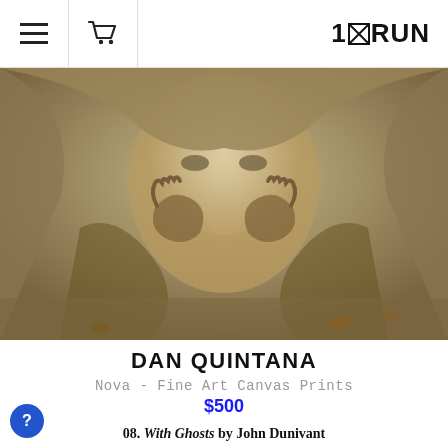1×RUN — navigation header with hamburger menu, cart icon, and 1×RUN logo
[Figure (photo): Close-up fine art canvas print titled 'Nova' by Dan Quintana — a surreal figure with burlap/canvas draped over head, hands clutching face, sepia/tan tones]
DAN QUINTANA
Nova - Fine Art Canvas Prints
$500
08. With Ghosts by John Dunivant
[Figure (photo): Framed artwork 'With Ghosts' by John Dunivant — dark background with pale ghostly figure with long blonde hair, in a dark frame]